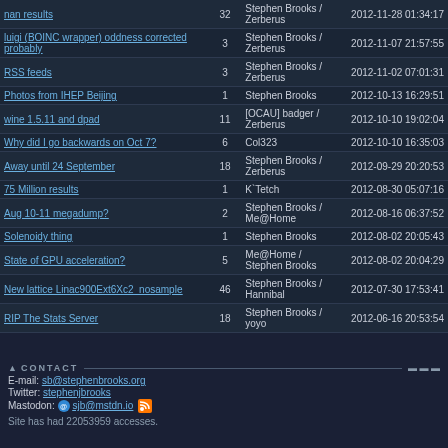| Topic | Replies | Author | Date |
| --- | --- | --- | --- |
| nan results | 32 | Stephen Brooks / Zerberus | 2012-11-28 01:34:17 |
| luigi (BOINC wrapper) oddness corrected probably | 3 | Stephen Brooks / Zerberus | 2012-11-07 21:57:55 |
| RSS feeds | 3 | Stephen Brooks / Zerberus | 2012-11-02 07:01:31 |
| Photos from IHEP Beijing | 1 | Stephen Brooks | 2012-10-13 16:29:51 |
| wine 1.5.11 and dpad | 11 | [OCAU] badger / Zerberus | 2012-10-10 19:02:04 |
| Why did I go backwards on Oct 7? | 6 | Col323 | 2012-10-10 16:35:03 |
| Away until 24 September | 18 | Stephen Brooks / Zerberus | 2012-09-29 20:20:53 |
| 75 Million results | 1 | K`Tetch | 2012-08-30 05:07:16 |
| Aug 10-11 megadump? | 2 | Stephen Brooks / Me@Home | 2012-08-16 06:37:52 |
| Solenoidy thing | 1 | Stephen Brooks | 2012-08-02 20:05:43 |
| State of GPU acceleration? | 5 | Me@Home / Stephen Brooks | 2012-08-02 20:04:29 |
| New lattice Linac900Ext6Xc2_nosample | 46 | Stephen Brooks / Hannibal | 2012-07-30 17:53:41 |
| RIP The Stats Server | 18 | Stephen Brooks / yoyo | 2012-06-16 20:53:54 |
CONTACT
E-mail: sb@stephenbrooks.org
Twitter: stephenjbrooks
Mastodon: @sjb@mstdn.io
Site has had 22053959 accesses.